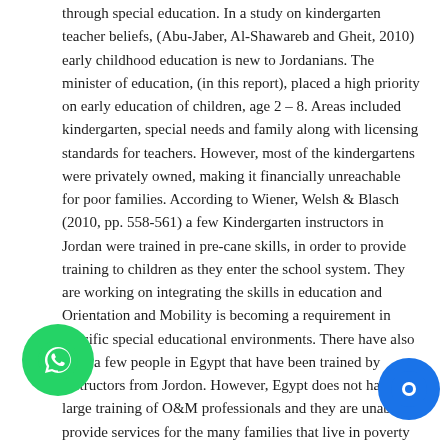through special education.  In a study on kindergarten teacher beliefs, (Abu-Jaber, Al-Shawareb and Gheit, 2010) early childhood education is new to Jordanians. The minister of education, (in this report), placed a high priority on early education of children, age 2 – 8.  Areas included kindergarten, special needs and family along with licensing standards for teachers.  However, most of the kindergartens were privately owned, making it financially unreachable for poor families.   According to Wiener, Welsh & Blasch (2010, pp. 558-561) a few Kindergarten instructors in Jordan were trained in pre-cane skills, in order to provide training to children as they enter the school system.   They are working on integrating the skills in education and Orientation and Mobility is becoming a requirement in specific special educational environments.  There have also been a few people in Egypt that have been trained by instructors from Jordon.  However, Egypt does not have a large training of O&M professionals and they are unable to provide services for the many families that live in poverty and the high percentages of blindness due to close interfamily relationships (Wiener, Welsh & Blasch, 2010, pp.558-561).
A study by Gobrial (2012) in Egypt, on the rights of children with visual disabilities; most children with disabilities are discriminated, and lack access to health care, education and the rights provided their peers.  This article points out that there was an increase in